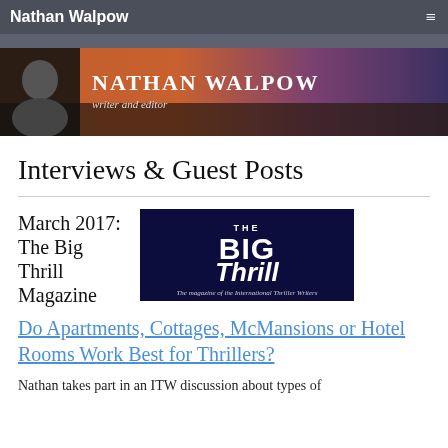Nathan Walpow
[Figure (photo): Nathan Walpow banner: photo of author on left with cityscape/palm tree sunset background, text 'NATHAN WALPOW writer and editor']
Interviews & Guest Posts
March 2017: The Big Thrill Magazine
[Figure (logo): The Big Thrill magazine logo — dark navy background with large white text 'THE BIG Thrill' and italic subtitle 'The magazine of the International Thriller Writers']
Do Apartments, Cottages, McMansions or Hotel Rooms Work Best for Thrillers?
Nathan takes part in an ITW discussion about types of residences in thrillers.